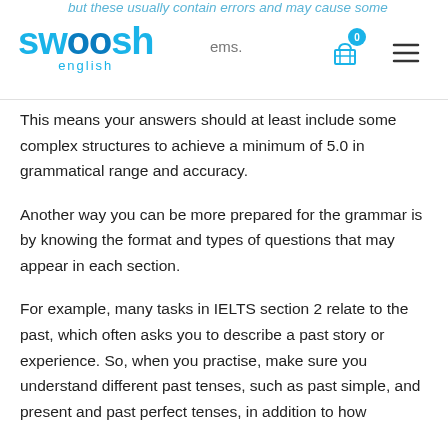but these usually contain errors and may cause some problems. swoosh english
This means your answers should at least include some complex structures to achieve a minimum of 5.0 in grammatical range and accuracy.
Another way you can be more prepared for the grammar is by knowing the format and types of questions that may appear in each section.
For example, many tasks in IELTS section 2 relate to the past, which often asks you to describe a past story or experience. So, when you practise, make sure you understand different past tenses, such as past simple, and present and past perfect tenses, in addition to how